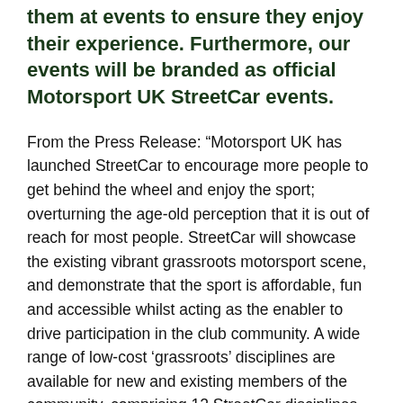initiate new people into the sport, help and guide them at events to ensure they enjoy their experience. Furthermore, our events will be branded as official Motorsport UK StreetCar events.
From the Press Release: “Mmotorsport UK has launched StreetCar to encourage more people to get behind the wheel and enjoy the sport; overturning the age-old perception that it is out of reach for most people. StreetCar will showcase the existing vibrant grassroots motorsport scene, and demonstrate that the sport is affordable, fun and accessible whilst acting as the enabler to drive participation in the club community. A wide range of low-cost ‘grassroots’ disciplines are available for new and existing members of the community, comprising 12 StreetCar disciplines that provide a wide variety of format and challenge. Segmented into Autotest, Trials & Cross Country and